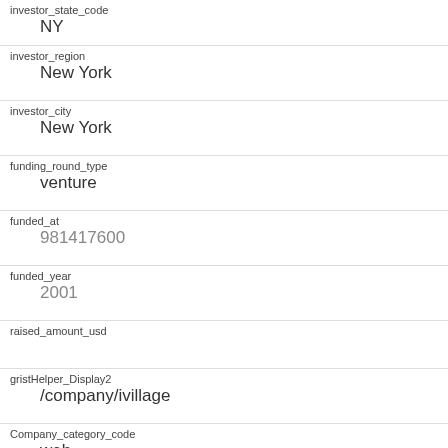investor_state_code: NY
investor_region: New York
investor_city: New York
funding_round_type: venture
funded_at: 981417600
funded_year: 2001
raised_amount_usd:
gristHelper_Display2: /company/ivillage
Company_category_code: web
Investor: Hearst Ventures https://www.crunchbase.com/financial-